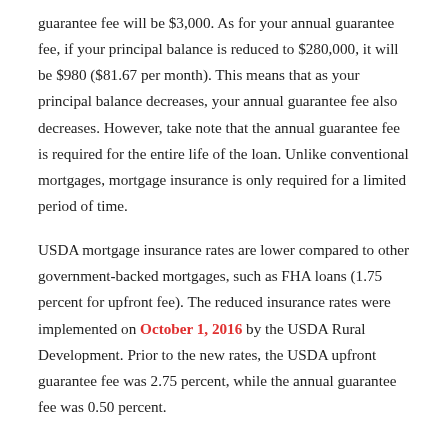guarantee fee will be $3,000. As for your annual guarantee fee, if your principal balance is reduced to $280,000, it will be $980 ($81.67 per month). This means that as your principal balance decreases, your annual guarantee fee also decreases. However, take note that the annual guarantee fee is required for the entire life of the loan. Unlike conventional mortgages, mortgage insurance is only required for a limited period of time.
USDA mortgage insurance rates are lower compared to other government-backed mortgages, such as FHA loans (1.75 percent for upfront fee). The reduced insurance rates were implemented on October 1, 2016 by the USDA Rural Development. Prior to the new rates, the USDA upfront guarantee fee was 2.75 percent, while the annual guarantee fee was 0.50 percent.